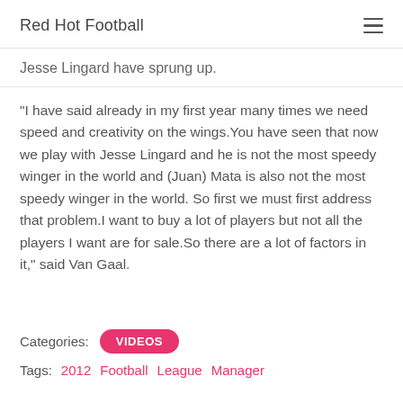Red Hot Football
Jesse Lingard have sprung up.
"I have said already in my first year many times we need speed and creativity on the wings.You have seen that now we play with Jesse Lingard and he is not the most speedy winger in the world and (Juan) Mata is also not the most speedy winger in the world. So first we must first address that problem.I want to buy a lot of players but not all the players I want are for sale.So there are a lot of factors in it," said Van Gaal.
Categories: VIDEOS
Tags: 2012  Football  League  Manager